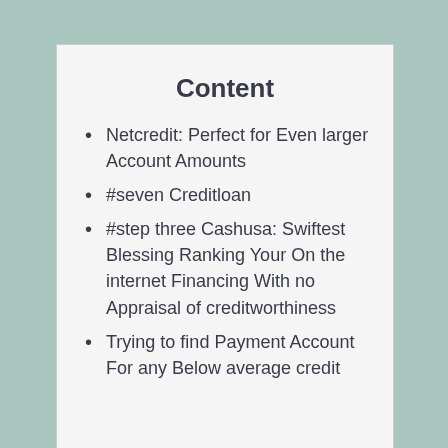Content
Netcredit: Perfect for Even larger Account Amounts
#seven Creditloan
#step three Cashusa: Swiftest Blessing Ranking Your On the internet Financing With no Appraisal of creditworthiness
Trying to find Payment Account For any Below average credit